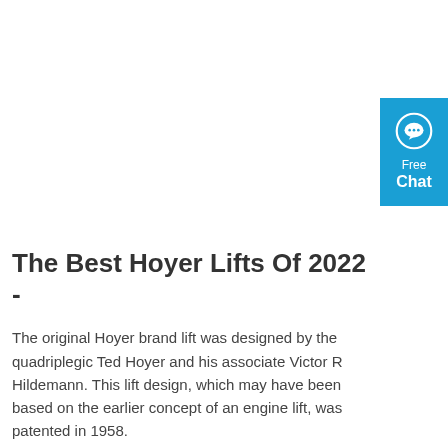[Figure (other): Blue chat widget button with speech bubble icon, text 'Free Chat']
The Best Hoyer Lifts Of 2022 -
The original Hoyer brand lift was designed by the quadriplegic Ted Hoyer and his associate Victor R Hildemann. This lift design, which may have been based on the earlier concept of an engine lift, was patented in 1958.
Get Price